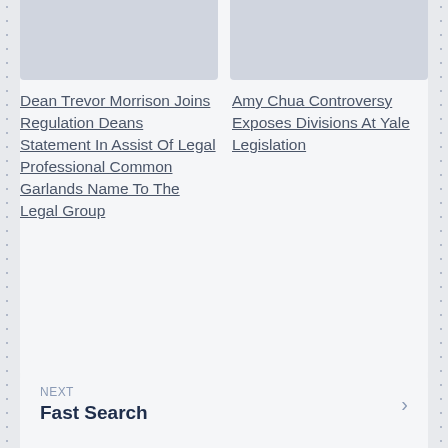[Figure (other): Two image placeholders side by side at the top of the card]
Dean Trevor Morrison Joins Regulation Deans Statement In Assist Of Legal Professional Common Garlands Name To The Legal Group
Amy Chua Controversy Exposes Divisions At Yale Legislation
NEXT
Fast Search